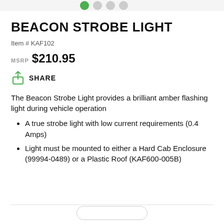BEACON STROBE LIGHT
Item # KAF102
MSRP $210.95
SHARE
The Beacon Strobe Light provides a brilliant amber flashing light during vehicle operation
A true strobe light with low current requirements (0.4 Amps)
Light must be mounted to either a Hard Cab Enclosure (99994-0489) or a Plastic Roof (KAF600-005B)